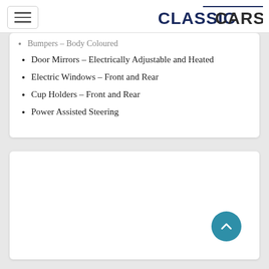CLASSICCARS
Bumpers – Body Coloured
Door Mirrors – Electrically Adjustable and Heated
Electric Windows – Front and Rear
Cup Holders – Front and Rear
Power Assisted Steering
[Figure (other): Empty white card section below the list]